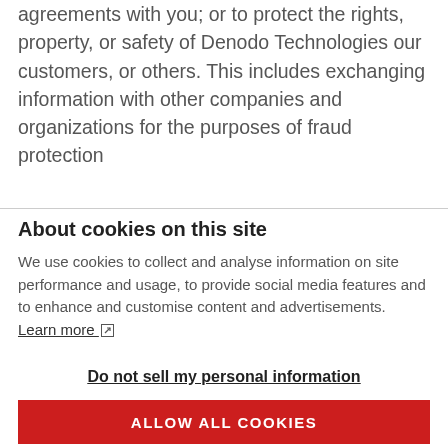agreements with you; or to protect the rights, property, or safety of Denodo Technologies our customers, or others. This includes exchanging information with other companies and organizations for the purposes of fraud protection
About cookies on this site
We use cookies to collect and analyse information on site performance and usage, to provide social media features and to enhance and customise content and advertisements. Learn more
Do not sell my personal information
ALLOW ALL COOKIES